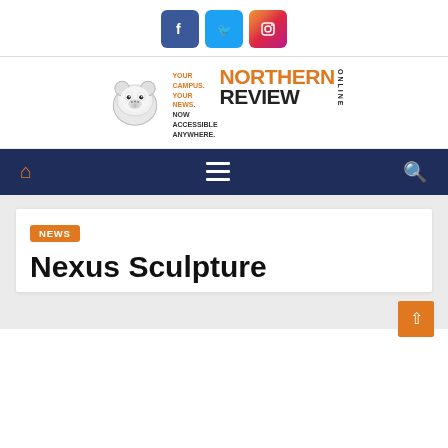[Figure (logo): Social media icons: Facebook (blue), Twitter (light blue), Instagram (gradient)]
[Figure (logo): The Northern Review Online logo with polar bear mascot. Text reads: YOUR CAMPUS. YOUR NEWS. NOW ACCESSIBLE ANYWHERE. NORTHERN REVIEW ONLINE]
[Figure (infographic): Navigation bar with home icon (orange), hamburger menu (white lines), and search icon (white) on dark navy background]
NEWS
Nexus Sculpture